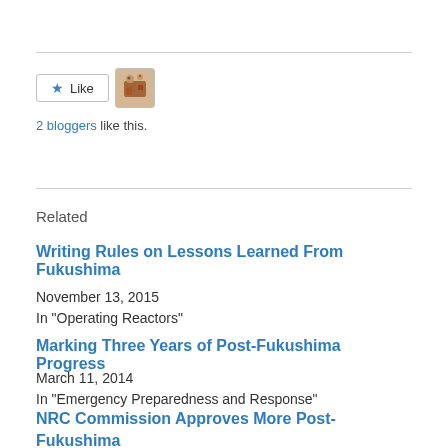[Figure (other): Like button with star icon and avatar image of a blogger]
2 bloggers like this.
Related
Writing Rules on Lessons Learned From Fukushima
November 13, 2015
In "Operating Reactors"
Marking Three Years of Post-Fukushima Progress
March 11, 2014
In "Emergency Preparedness and Response"
NRC Commission Approves More Post-Fukushima Upgrades to Nuclear Plants